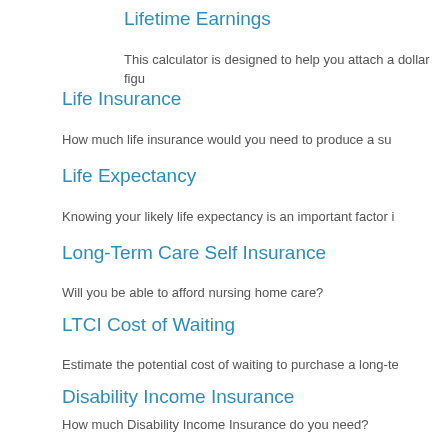Lifetime Earnings
This calculator is designed to help you attach a dollar figu
Life Insurance
How much life insurance would you need to produce a su
Life Expectancy
Knowing your likely life expectancy is an important factor i
Long-Term Care Self Insurance
Will you be able to afford nursing home care?
LTCI Cost of Waiting
Estimate the potential cost of waiting to purchase a long-te
Disability Income Insurance
How much Disability Income Insurance do you need?
Refer a friend